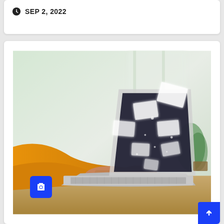SEP 2, 2022
[Figure (photo): Person in yellow/orange sweater typing on a laptop with floating email envelope icons rising from the keyboard, suggesting sending emails digitally. Blue camera icon badge in bottom-left corner of photo.]